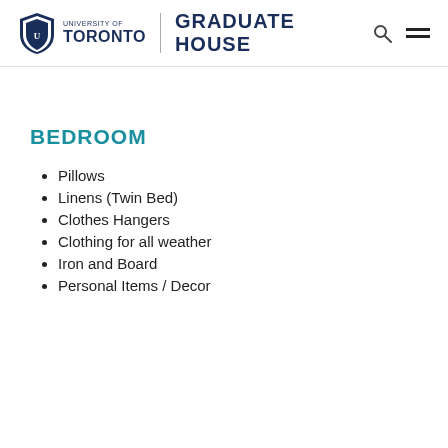University of Toronto | Graduate House
BEDROOM
Pillows
Linens (Twin Bed)
Clothes Hangers
Clothing for all weather
Iron and Board
Personal Items / Decor